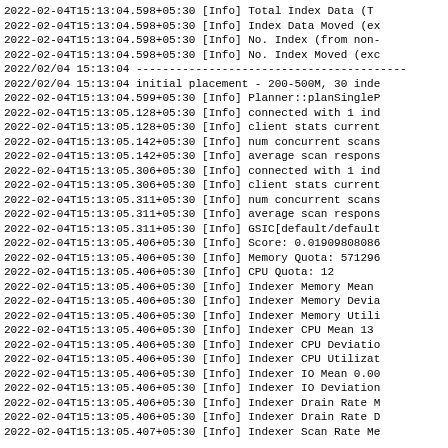2022-02-04T15:13:04.598+05:30 [Info] Total Index Data (T
2022-02-04T15:13:04.598+05:30 [Info] Index Data Moved (ex
2022-02-04T15:13:04.598+05:30 [Info] No. Index (from non-
2022-02-04T15:13:04.598+05:30 [Info] No. Index Moved (exc
2022/02/04 15:13:04 -----------------------------------------
2022/02/04 15:13:04 initial placement - 200-500M, 30 inde
2022-02-04T15:13:04.599+05:30 [Info] Planner::planSingleP
2022-02-04T15:13:05.128+05:30 [Info] connected with 1 ind
2022-02-04T15:13:05.128+05:30 [Info] client stats current
2022-02-04T15:13:05.142+05:30 [Info] num concurrent scans
2022-02-04T15:13:05.142+05:30 [Info] average scan respons
2022-02-04T15:13:05.306+05:30 [Info] connected with 1 ind
2022-02-04T15:13:05.306+05:30 [Info] client stats current
2022-02-04T15:13:05.311+05:30 [Info] num concurrent scans
2022-02-04T15:13:05.311+05:30 [Info] average scan respons
2022-02-04T15:13:05.311+05:30 [Info] GSIC[default/default
2022-02-04T15:13:05.406+05:30 [Info] Score: 0.019098080868
2022-02-04T15:13:05.406+05:30 [Info] Memory Quota: 571296
2022-02-04T15:13:05.406+05:30 [Info] CPU Quota: 12
2022-02-04T15:13:05.406+05:30 [Info] Indexer Memory Mean
2022-02-04T15:13:05.406+05:30 [Info] Indexer Memory Devia
2022-02-04T15:13:05.406+05:30 [Info] Indexer Memory Utili
2022-02-04T15:13:05.406+05:30 [Info] Indexer CPU Mean 13
2022-02-04T15:13:05.406+05:30 [Info] Indexer CPU Deviatio
2022-02-04T15:13:05.406+05:30 [Info] Indexer CPU Utilizat
2022-02-04T15:13:05.406+05:30 [Info] Indexer IO Mean 0.00
2022-02-04T15:13:05.406+05:30 [Info] Indexer IO Deviation
2022-02-04T15:13:05.406+05:30 [Info] Indexer Drain Rate M
2022-02-04T15:13:05.406+05:30 [Info] Indexer Drain Rate D
2022-02-04T15:13:05.407+05:30 [Info] Indexer Scan Rate Me